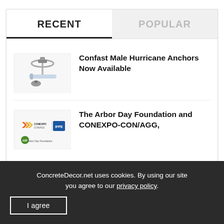RECENT
POPULAR
[Figure (photo): Photo of Confast Male Hurricane Anchors — metal anchor hardware pieces on white background]
Confast Male Hurricane Anchors Now Available
[Figure (logo): CONEXPO-CON/AGG logo and Arbor Day Foundation logo side by side]
The Arbor Day Foundation and CONEXPO-CON/AGG,
ConcreteDecor.net uses cookies. By using our site you agree to our privacy policy.
I agree